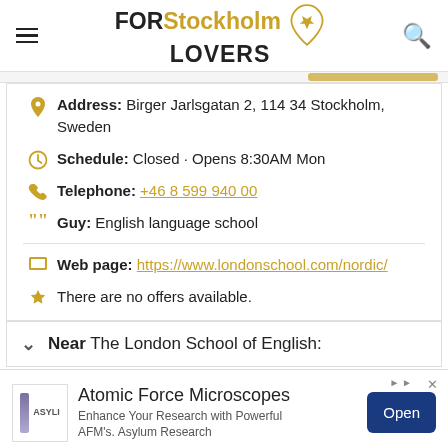FOR Stockholm LOVERS
Address: Birger Jarlsgatan 2, 114 34 Stockholm, Sweden
Schedule: Closed · Opens 8:30AM Mon
Telephone: +46 8 599 940 00
Guy: English language school
Web page: https://www.londonschool.com/nordic/
There are no offers available.
Near The London School of English:
Atomic Force Microscopes Enhance Your Research with Powerful AFM's. Asylum Research